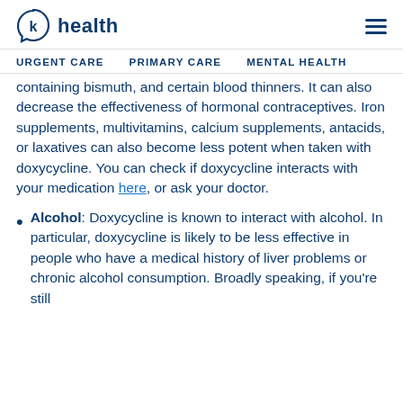K Health — URGENT CARE   PRIMARY CARE   MENTAL HEALTH
containing bismuth, and certain blood thinners. It can also decrease the effectiveness of hormonal contraceptives. Iron supplements, multivitamins, calcium supplements, antacids, or laxatives can also become less potent when taken with doxycycline. You can check if doxycycline interacts with your medication here, or ask your doctor.
Alcohol: Doxycycline is known to interact with alcohol. In particular, doxycycline is likely to be less effective in people who have a medical history of liver problems or chronic alcohol consumption. Broadly speaking, if you're still